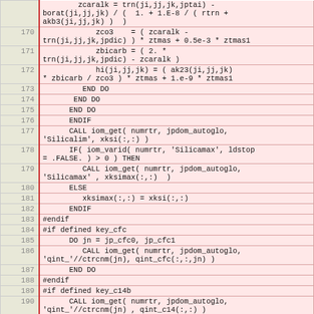| line | code |
| --- | --- |
| 169(cont) | zcaralk = trn(ji,jj,jk,jptai) - borat(ji,jj,jk) / (  1. + 1.E-8 / ( rtrn + akb3(ji,jj,jk) )  ) |
| 170 | zco3    = ( zcaralk - trn(ji,jj,jk,jpdic) ) * ztmas + 0.5e-3 * ztmas1 |
| 171 | zbicarb = ( 2. * trn(ji,jj,jk,jpdic) - zcaralk ) |
| 172 | hi(ji,jj,jk) = ( ak23(ji,jj,jk) * zbicarb / zco3 ) * ztmas + 1.e-9 * ztmas1 |
| 173 | END DO |
| 174 | END DO |
| 175 | END DO |
| 176 | ENDIF |
| 177 | CALL iom_get( numrtr, jpdom_autoglo, 'Silicalim', xksi(:,:) ) |
| 178 | IF( iom_varid( numrtr, 'Silicamax', ldstop = .FALSE. ) > 0 ) THEN |
| 179 | CALL iom_get( numrtr, jpdom_autoglo, 'Silicamax' , xksimax(:,:)  ) |
| 180 | ELSE |
| 181 | xksimax(:,:) = xksi(:,:) |
| 182 | ENDIF |
| 183 | #endif |
| 184 | #if defined key_cfc |
| 185 | DO jn = jp_cfc0, jp_cfc1 |
| 186 | CALL iom_get( numrtr, jpdom_autoglo, 'qint_'//ctrcnm(jn), qint_cfc(:,:,jn) ) |
| 187 | END DO |
| 188 | #endif |
| 189 | #if defined key_c14b |
| 190 | CALL iom_get( numrtr, jpdom_autoglo, 'qint_'//ctrcnm(jn) , qint_c14(:,:) ) |
| 191 | #endif |
| 192 | #if defined key_my_trc |